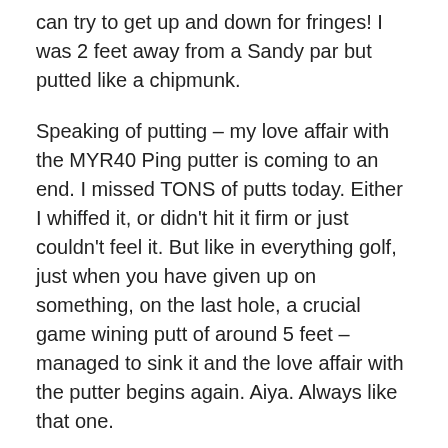can try to get up and down for fringes! I was 2 feet away from a Sandy par but putted like a chipmunk.
Speaking of putting – my love affair with the MYR40 Ping putter is coming to an end. I missed TONS of putts today. Either I whiffed it, or didn't hit it firm or just couldn't feel it. But like in everything golf, just when you have given up on something, on the last hole, a crucial game wining putt of around 5 feet – managed to sink it and the love affair with the putter begins again. Aiya. Always like that one.
I did have birdie opportunities, though not tons – I think I had 3 clear look at birdies within 10 feet putting and dreadfully squandered all of them.
However – keeping the triples off the card was key and definitely helps. I think its a combo of poor putting and bunker attraction today. In the first 9 itself, I hit bunkers in